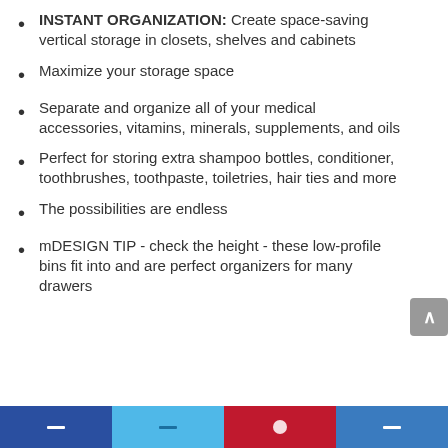INSTANT ORGANIZATION: Create space-saving vertical storage in closets, shelves and cabinets
Maximize your storage space
Separate and organize all of your medical accessories, vitamins, minerals, supplements, and oils
Perfect for storing extra shampoo bottles, conditioner, toothbrushes, toothpaste, toiletries, hair ties and more
The possibilities are endless
mDESIGN TIP - check the height - these low-profile bins fit into and are perfect organizers for many drawers